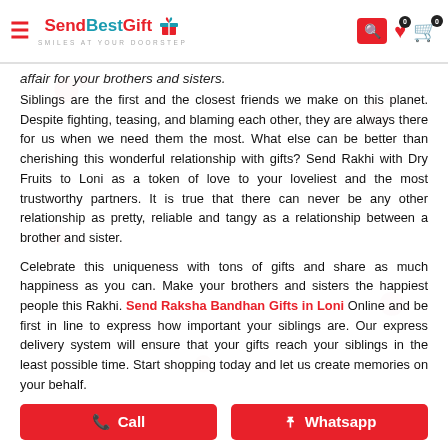SendBestGift — SMILES AT YOUR DOORSTEP
affair for your brothers and sisters.
Siblings are the first and the closest friends we make on this planet. Despite fighting, teasing, and blaming each other, they are always there for us when we need them the most. What else can be better than cherishing this wonderful relationship with gifts? Send Rakhi with Dry Fruits to Loni as a token of love to your loveliest and the most trustworthy partners. It is true that there can never be any other relationship as pretty, reliable and tangy as a relationship between a brother and sister.
Celebrate this uniqueness with tons of gifts and share as much happiness as you can. Make your brothers and sisters the happiest people this Rakhi. Send Raksha Bandhan Gifts in Loni Online and be first in line to express how important your siblings are. Our express delivery system will ensure that your gifts reach your siblings in the least possible time. Start shopping today and let us create memories on your behalf.
Call
Whatsapp
Order for Online Rakhi with Dry Fruit Box